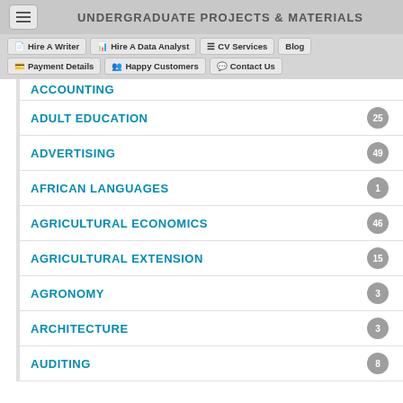UNDERGRADUATE PROJECTS & MATERIALS
Hire A Writer
Hire A Data Analyst
CV Services
Blog
Payment Details
Happy Customers
Contact Us
ACCOUNTING
ADULT EDUCATION - 25
ADVERTISING - 49
AFRICAN LANGUAGES - 1
AGRICULTURAL ECONOMICS - 46
AGRICULTURAL EXTENSION - 15
AGRONOMY - 3
ARCHITECTURE - 3
AUDITING - 8